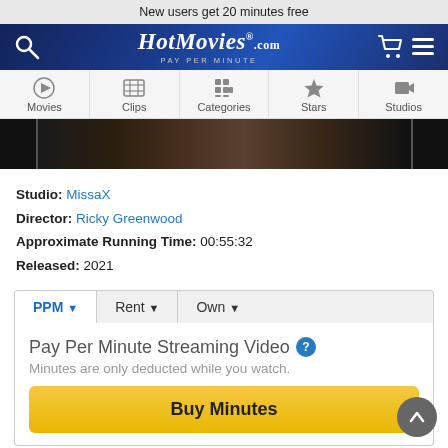New users get 20 minutes free
[Figure (screenshot): HotMovies.com pay per minute website navigation bar with logo, search icon, cart and menu icons]
[Figure (screenshot): Navigation menu with Movies, Clips, Categories, Stars, Studios tabs]
[Figure (photo): Dark thumbnail strip from a video]
Studio: MissaX
Director: Ricky Greenwood
Approximate Running Time: 00:55:32
Released: 2021
PPM | Rent | Own
Pay Per Minute Streaming Video
Minutes are only deducted while you watch.
Buy Minutes